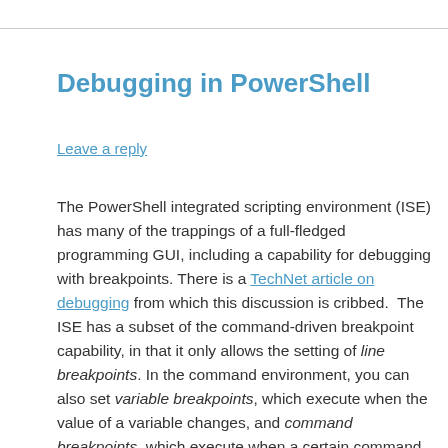Debugging in PowerShell
Leave a reply
The PowerShell integrated scripting environment (ISE) has many of the trappings of a full-fledged programming GUI, including a capability for debugging with breakpoints. There is a TechNet article on debugging from which this discussion is cribbed. The ISE has a subset of the command-driven breakpoint capability, in that it only allows the setting of line breakpoints. In the command environment, you can also set variable breakpoints, which execute when the value of a variable changes, and command breakpoints, which execute when a certain command is reached.